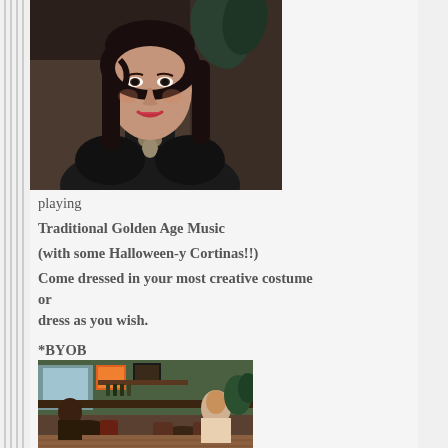[Figure (photo): Portrait photo of a woman with long dark hair wearing black clothing and a necklace, seated in what appears to be a restaurant or bar setting]
playing Traditional Golden Age Music (with some Halloween-y Cortinas!!)
Come dressed in your most creative costume or dress as you wish.
*BYOB
[Figure (photo): Interior photo of a restaurant/bar showing tables, chairs, and ambient lighting]
*(If you forget to BYOB-Marty's Hops n Vines on